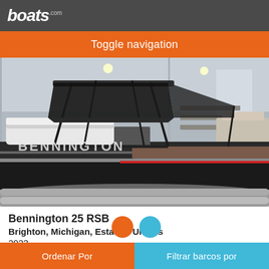boats.com
Toggle navigation
[Figure (photo): A Bennington pontoon boat with a dark canopy/bimini top, white seating, and black hull with red accent stripe, parked inside an indoor boat dealership or storage facility.]
Bennington 25 RSB
Brighton, Michigan, Estados Unidos
2023
A demanda
Ordenar Por   Filtrar barcos por